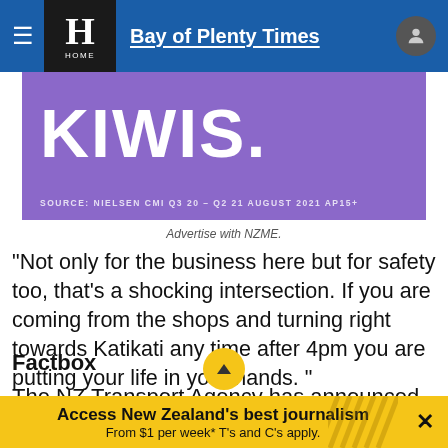Bay of Plenty Times
[Figure (illustration): Purple advertisement banner with large white bold text 'KIWIS.' and source text 'SOURCE: NIELSEN CMI Q3 20 - Q2 21 AUGUST 2021 AP15+']
Advertise with NZME.
"Not only for the business here but for safety too, that's a shocking intersection. If you are coming from the shops and turning right towards Katikati any time after 4pm you are putting your life in your hands. "
Factbox
The NZ Transport Agency has announced a $591 million transport packag... signed to grow industry
Access New Zealand's best journalism From $1 per week* T's and C's apply.